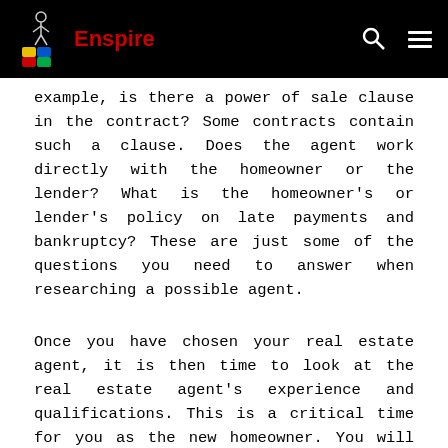Enspire
example, is there a power of sale clause in the contract? Some contracts contain such a clause. Does the agent work directly with the homeowner or the lender? What is the homeowner's or lender's policy on late payments and bankruptcy? These are just some of the questions you need to answer when researching a possible agent.
Once you have chosen your real estate agent, it is then time to look at the real estate agent's experience and qualifications. This is a critical time for you as the new homeowner. You will be relying on this real estate agent for important advice